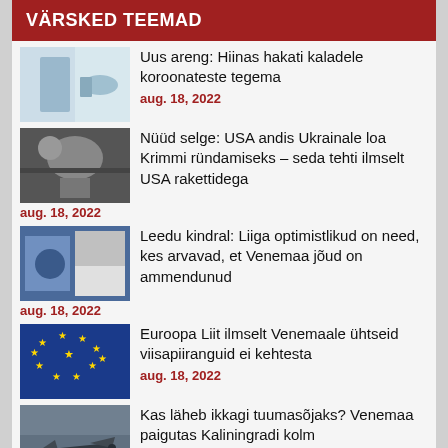VÄRSKED TEEMAD
Uus areng: Hiinas hakati kaladele koroonateste tegema
aug. 18, 2022
Nüüd selge: USA andis Ukrainale loa Krimmi ründamiseks – seda tehti ilmselt USA rakettidega
aug. 18, 2022
Leedu kindral: Liiga optimistlikud on need, kes arvavad, et Venemaa jõud on ammendunud
aug. 18, 2022
Euroopa Liit ilmselt Venemaale ühtseid viisapiiranguid ei kehtesta
aug. 18, 2022
Kas läheb ikkagi tuumasõjaks? Venemaa paigutas Kaliningradi kolm tuumavõimekusega rakettidega varustatud lennukit MIG-31
aug. 18, 2022